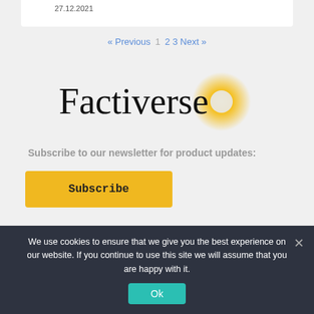27.12.2021
« Previous  1  2  3  Next »
[Figure (logo): Factiverse logo with serif wordmark and yellow sun/glow icon to the right]
Subscribe to our newsletter for product updates:
Subscribe
We use cookies to ensure that we give you the best experience on our website. If you continue to use this site we will assume that you are happy with it.
Ok